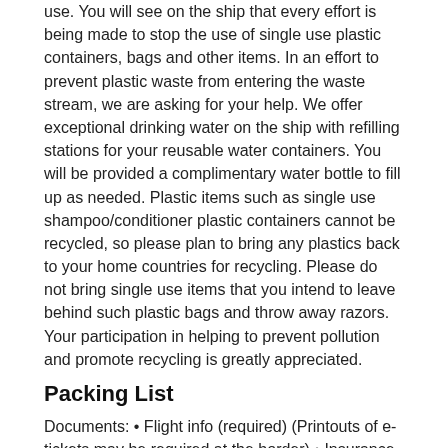use. You will see on the ship that every effort is being made to stop the use of single use plastic containers, bags and other items. In an effort to prevent plastic waste from entering the waste stream, we are asking for your help. We offer exceptional drinking water on the ship with refilling stations for your reusable water containers. You will be provided a complimentary water bottle to fill up as needed. Plastic items such as single use shampoo/conditioner plastic containers cannot be recycled, so please plan to bring any plastics back to your home countries for recycling. Please do not bring single use items that you intend to leave behind such plastic bags and throw away razors. Your participation in helping to prevent pollution and promote recycling is greatly appreciated.
Packing List
Documents: • Flight info (required) (Printouts of e-tickets may be required at the border) • Insurance info (required) (With photocopies) • Passport (required) (With photocopies) • Required visas or vaccination certificates (required) (With photocopies) • Vouchers and pre-departure information (required) Expedition: • Binoculars (highly recommended) • Camera (With extra memory cards and batteries) • Cash, credit and debit cards • Day pack (Used for daily excursions or short overnights) • Drybag (To